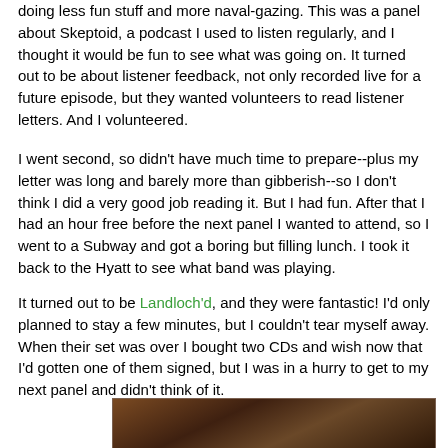doing less fun stuff and more naval-gazing. This was a panel about Skeptoid, a podcast I used to listen regularly, and I thought it would be fun to see what was going on. It turned out to be about listener feedback, not only recorded live for a future episode, but they wanted volunteers to read listener letters. And I volunteered.
I went second, so didn't have much time to prepare--plus my letter was long and barely more than gibberish--so I don't think I did a very good job reading it. But I had fun. After that I had an hour free before the next panel I wanted to attend, so I went to a Subway and got a boring but filling lunch. I took it back to the Hyatt to see what band was playing.
It turned out to be Landloch'd, and they were fantastic! I'd only planned to stay a few minutes, but I couldn't tear myself away. When their set was over I bought two CDs and wish now that I'd gotten one of them signed, but I was in a hurry to get to my next panel and didn't think of it.
[Figure (photo): A dark brownish photograph, partially visible at the bottom of the page, appearing to show a performance or event scene with warm brown tones.]